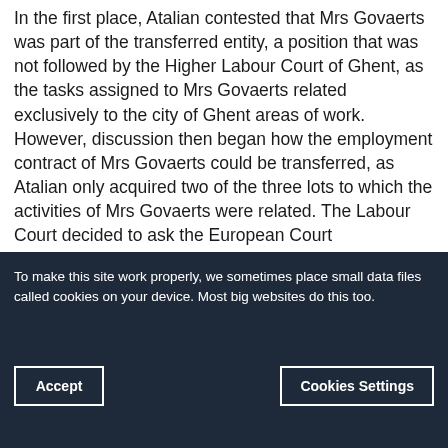In the first place, Atalian contested that Mrs Govaerts was part of the transferred entity, a position that was not followed by the Higher Labour Court of Ghent, as the tasks assigned to Mrs Govaerts related exclusively to the city of Ghent areas of work. However, discussion then began how the employment contract of Mrs Govaerts could be transferred, as Atalian only acquired two of the three lots to which the activities of Mrs Govaerts were related. The Labour Court decided to ask the European Court
To make this site work properly, we sometimes place small data files called cookies on your device. Most big websites do this too.
Accept
Cookies Settings